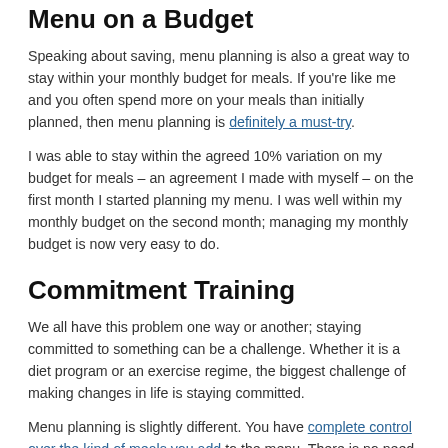Menu on a Budget
Speaking about saving, menu planning is also a great way to stay within your monthly budget for meals. If you're like me and you often spend more on your meals than initially planned, then menu planning is definitely a must-try.
I was able to stay within the agreed 10% variation on my budget for meals – an agreement I made with myself – on the first month I started planning my menu. I was well within my monthly budget on the second month; managing my monthly budget is now very easy to do.
Commitment Training
We all have this problem one way or another; staying committed to something can be a challenge. Whether it is a diet program or an exercise regime, the biggest challenge of making changes in life is staying committed.
Menu planning is slightly different. You have complete control over the kind of meals you add to the menu. There is no need to make healthy meals or set yourself strict rules right away. If you can learn to commit to the menu, you can learn to commit to anything in life.